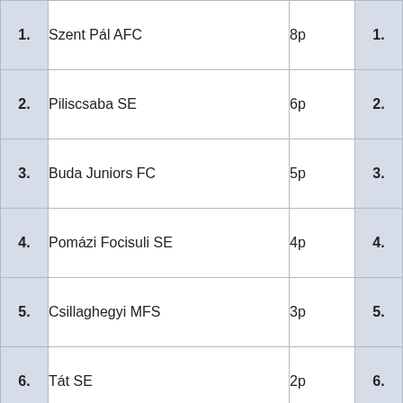| Rank | Team | Points | Rank2 |
| --- | --- | --- | --- |
| 1. | Szent Pál AFC | 8p | 1. |
| 2. | Piliscsaba SE | 6p | 2. |
| 3. | Buda Juniors FC | 5p | 3. |
| 4. | Pomázi Focisuli SE | 4p | 4. |
| 5. | Csillaghegyi MFS | 3p | 5. |
| 6. | Tát SE | 2p | 6. |
File:
WinterCup2000-2001.pdf
[Figure (other): Website footer with blue gradient bar, silver navigation bar with 'Ou' text, and dark blue hexagonal pattern background with white logo box at bottom right]